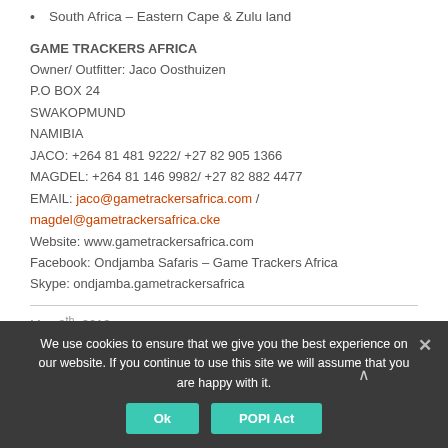South Africa – Eastern Cape & Zulu land
GAME TRACKERS AFRICA
Owner/ Outfitter:  Jaco Oosthuizen
P.O BOX 24
SWAKOPMUND
NAMIBIA
JACO: +264 81 481 9222/ +27 82 905 1366
MAGDEL: +264 81 146 9982/ +27 82 882 4477
EMAIL:  jaco@gametrackersafrica.com / magdel@gametrackersafrica.com
Website:  www.gametrackersafrica.com
Facebook:  Ondjamba Safaris – Game Trackers Africa
Skype:  ondjamba.gametrackersafrica
May 8th, 2018
We use cookies to ensure that we give you the best experience on our website. If you continue to use this site we will assume that you are happy with it.